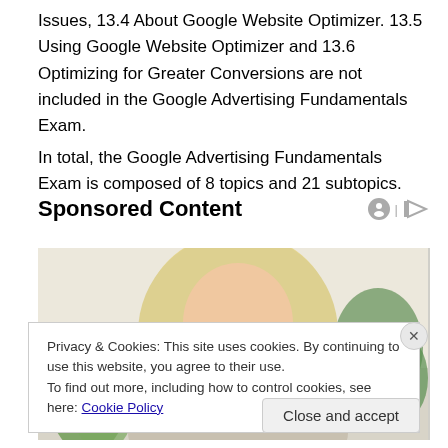Issues, 13.4 About Google Website Optimizer. 13.5 Using Google Website Optimizer and 13.6 Optimizing for Greater Conversions are not included in the Google Advertising Fundamentals Exam.
In total, the Google Advertising Fundamentals Exam is composed of 8 topics and 21 subtopics.
Sponsored Content
[Figure (photo): Photo of a blonde woman looking down, with green plants in the background. Advertisement image.]
Privacy & Cookies: This site uses cookies. By continuing to use this website, you agree to their use.
To find out more, including how to control cookies, see here: Cookie Policy
Close and accept